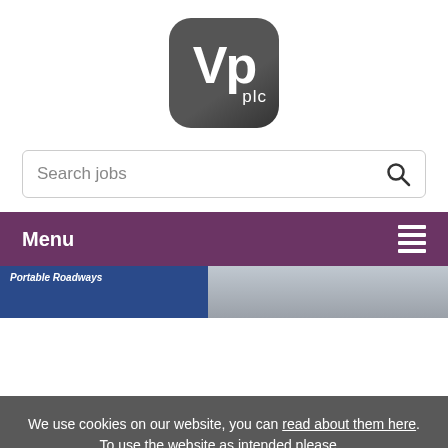[Figure (logo): VP plc logo — dark grey rounded square with white bold 'Vp' text and 'plc' below]
[Figure (screenshot): Search jobs input field with magnifying glass icon on right]
[Figure (screenshot): Purple navigation menu bar with 'Menu' text on left and hamburger/list icon on right]
[Figure (photo): Partial banner image showing a blue truck with 'Portable Roadways' text and cloudy sky background]
We use cookies on our website, you can read about them here. To use the website as intended please...
[Figure (screenshot): Green 'Accept Cookies' button]